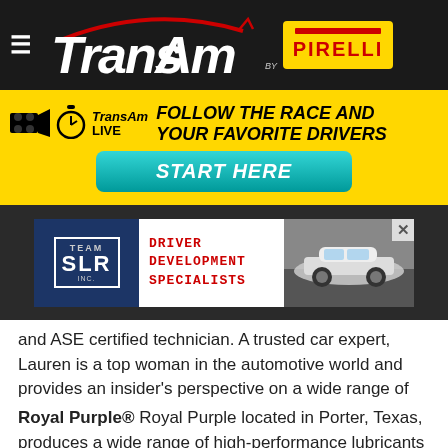Trans Am by Pirelli — navigation header
[Figure (logo): Trans Am by Pirelli logo with hamburger menu on black background bar]
[Figure (infographic): Yellow banner: TransAm Live icons, text 'FOLLOW THE RACE AND YOUR FAVORITE DRIVERS', and 'START HERE' teal button]
[Figure (screenshot): Advertisement banner on dark background: Team SLR logo, 'DRIVER DEVELOPMENT SPECIALISTS' in red monospace text, and race car photo]
and ASE certified technician. A trusted car expert, Lauren is a top woman in the automotive world and provides an insider's perspective on a wide range of automotive topics and safety issues. She's a fierce consumer advocate and a Jill-of-all trades in the automotive and entertainment industries. www.laurenfix.com
Royal Purple® Royal Purple located in Porter, Texas, produces a wide range of high-performance lubricants for